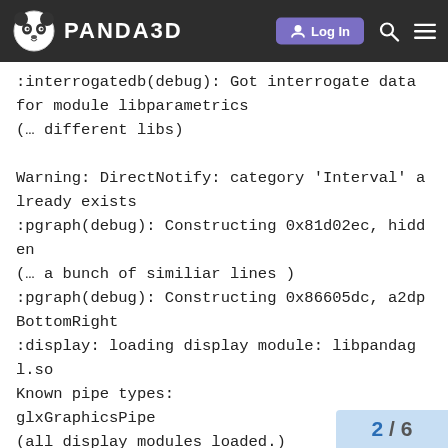PANDA3D | Log In
:interrogatedb(debug): Got interrogate data for module libparametrics
(… different libs)

Warning: DirectNotify: category 'Interval' already exists
:pgraph(debug): Constructing 0x81d02ec, hidden
(… a bunch of similiar lines )
:pgraph(debug): Constructing 0x86605dc, a2dpBottomRight
:display: loading display module: libpandagl.so
Known pipe types:
glxGraphicsPipe
(all display modules loaded.)
:display(debug): DisplayRegion::do_compute_pixels(800, 600)
:display(debug): DisplayRegion::do_compute_pixels(800, 600)
:display(debug): Creating new window
:display(debug): Created glxGraphics
2 / 6